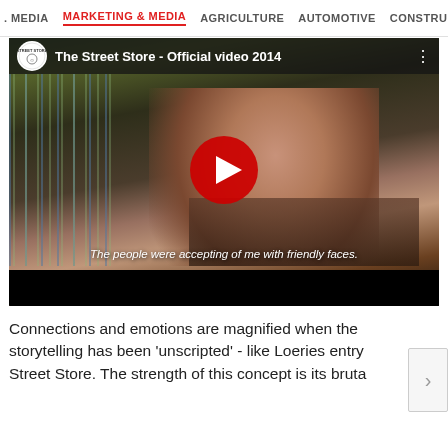MEDIA  MARKETING & MEDIA  AGRICULTURE  AUTOMOTIVE  CONSTRU
[Figure (screenshot): YouTube video thumbnail for 'The Street Store - Official video 2014' showing a woman with short hair being interviewed outdoors near a clothing rack. A red YouTube play button is centered on the image. Subtitle reads: 'The people were accepting of me with friendly faces.']
Connections and emotions are magnified when the storytelling has been 'unscripted' - like Loeries entry Street Store. The strength of this concept is its bruta...